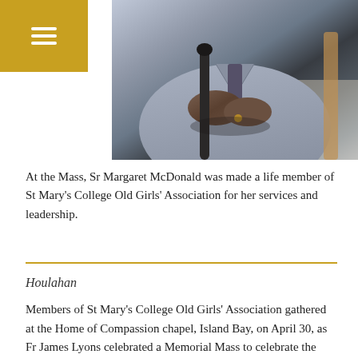[Figure (photo): Close-up photograph of an elderly person seated, wearing a light grey suit and dark tie, with hands clasped over a cane or walking stick resting on their lap.]
At the Mass, Sr Margaret McDonald was made a life member of St Mary’s College Old Girls’ Association for her services and leadership.
Houlahan
Members of St Mary’s College Old Girls’ Association gathered at the Home of Compassion chapel, Island Bay, on April 30, as Fr James Lyons celebrated a Memorial Mass to celebrate the lives of those who had died in the last two years.